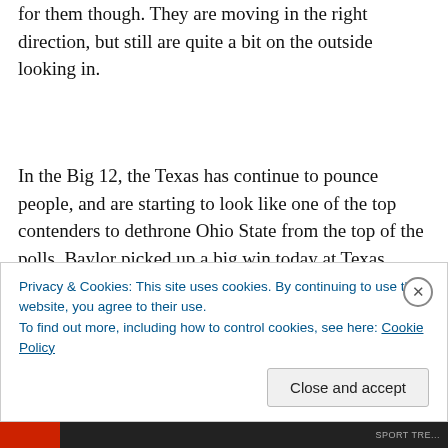for them though. They are moving in the right direction, but still are quite a bit on the outside looking in.
In the Big 12, the Texas has continue to pounce people, and are starting to look like one of the top contenders to dethrone Ohio State from the top of the polls. Baylor picked up a big win today at Texas A&M, and are now 5-4 in Big 12 play. They are right on the bubble now. In the Big Ten, everything is status quo. Northwestern picked up an
Privacy & Cookies: This site uses cookies. By continuing to use this website, you agree to their use.
To find out more, including how to control cookies, see here: Cookie Policy